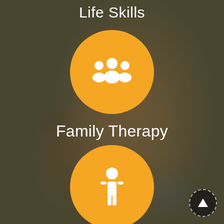Life Skills
[Figure (illustration): Orange circle button with white group/family icon (three people silhouettes)]
Family Therapy
[Figure (illustration): Orange circle button with white single person/individual icon]
[Figure (illustration): Dark circular scroll-up navigation button with dashed border and white upward arrow, bottom-right corner]